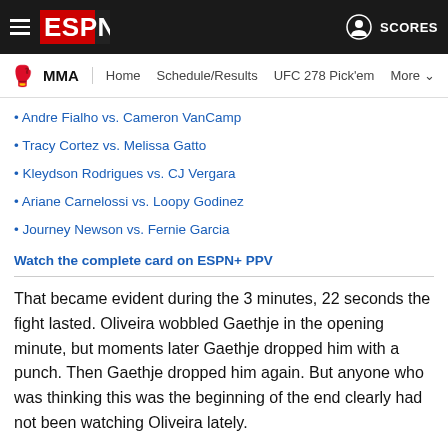ESPN MMA — Home | Schedule/Results | UFC 278 Pick'em | More | SCORES
Andre Fialho vs. Cameron VanCamp
Tracy Cortez vs. Melissa Gatto
Kleydson Rodrigues vs. CJ Vergara
Ariane Carnelossi vs. Loopy Godinez
Journey Newson vs. Fernie Garcia
Watch the complete card on ESPN+ PPV
That became evident during the 3 minutes, 22 seconds the fight lasted. Oliveira wobbled Gaethje in the opening minute, but moments later Gaethje dropped him with a punch. Then Gaethje dropped him again. But anyone who was thinking this was the beginning of the end clearly had not been watching Oliveira lately.
The 32-year-old Brazilian was hurt badly a year ago in Round